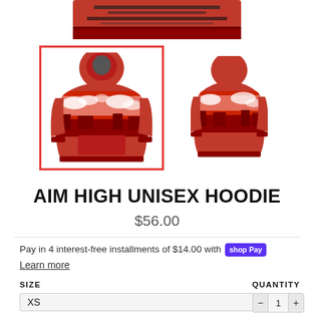[Figure (photo): Top banner showing product imagery with red hoodie pattern]
[Figure (photo): Two hoodie product thumbnails side by side. Left thumbnail selected with red border showing front view of red hoodie with sky/clouds print and building scene. Right thumbnail showing back view of same red hoodie.]
AIM HIGH UNISEX HOODIE
$56.00
Pay in 4 interest-free installments of $14.00 with shop Pay
Learn more
SIZE
QUANTITY
XS